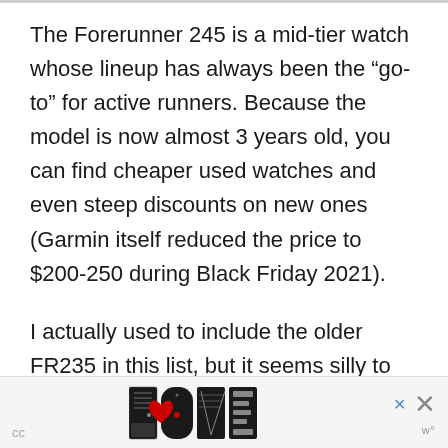The Forerunner 245 is a mid-tier watch whose lineup has always been the “go-to” for active runners. Because the model is now almost 3 years old, you can find cheaper used watches and even steep discounts on new ones (Garmin itself reduced the price to $200-250 during Black Friday 2021).
I actually used to include the older FR235 in this list, but it seems silly to recommend a 2015 watch in 2022, especially when the newer one
[Figure (other): Advertisement banner showing decorative LOVE lettering artwork with close buttons]